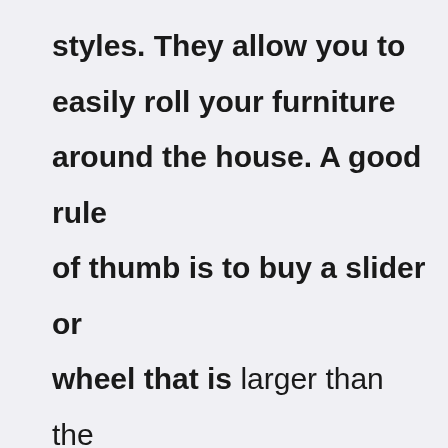styles. They allow you to easily roll your furniture around the house. A good rule of thumb is to buy a slider or wheel that is larger than the width of the item being moved. For instance, if you're sliding a dining table, you'd want to buy a slider or wheel that is wider than the table.